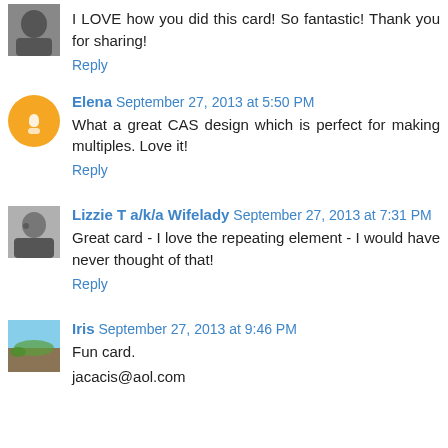I LOVE how you did this card! So fantastic! Thank you for sharing!
Reply
Elena September 27, 2013 at 5:50 PM
What a great CAS design which is perfect for making multiples. Love it!
Reply
Lizzie T a/k/a Wifelady September 27, 2013 at 7:31 PM
Great card - I love the repeating element - I would have never thought of that!
Reply
Iris September 27, 2013 at 9:46 PM
Fun card.
jacacis@aol.com